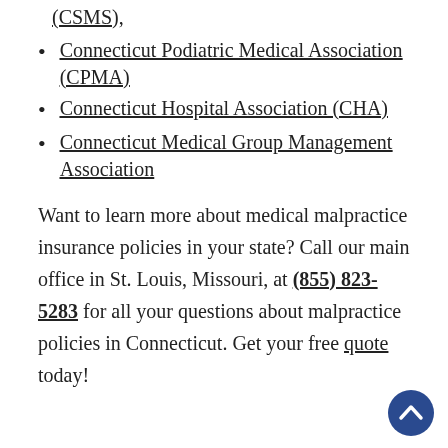(CSMS),
Connecticut Podiatric Medical Association (CPMA)
Connecticut Hospital Association (CHA)
Connecticut Medical Group Management Association
Want to learn more about medical malpractice insurance policies in your state? Call our main office in St. Louis, Missouri, at (855) 823-5283 for all your questions about malpractice policies in Connecticut. Get your free quote today!